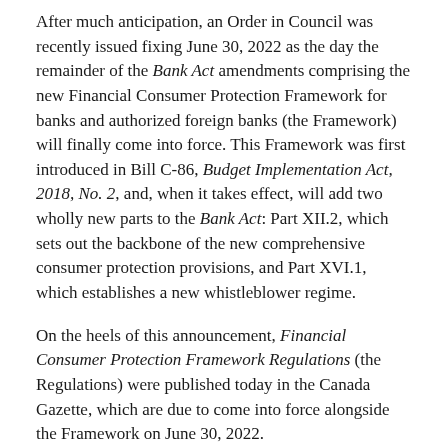After much anticipation, an Order in Council was recently issued fixing June 30, 2022 as the day the remainder of the Bank Act amendments comprising the new Financial Consumer Protection Framework for banks and authorized foreign banks (the Framework) will finally come into force. This Framework was first introduced in Bill C-86, Budget Implementation Act, 2018, No. 2, and, when it takes effect, will add two wholly new parts to the Bank Act: Part XII.2, which sets out the backbone of the new comprehensive consumer protection provisions, and Part XVI.1, which establishes a new whistleblower regime.
On the heels of this announcement, Financial Consumer Protection Framework Regulations (the Regulations) were published today in the Canada Gazette, which are due to come into force alongside the Framework on June 30, 2022.
Taken together, the Framework and the Regulations establish new and updated consumer protection rules and effect a